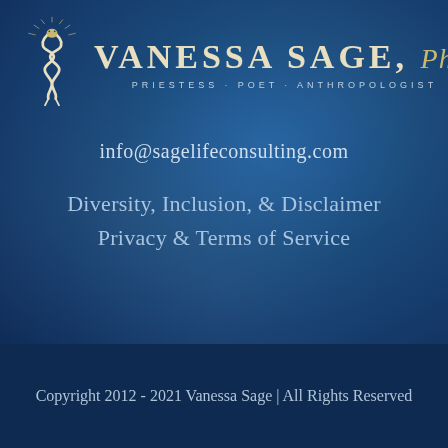[Figure (logo): Vanessa Sage PhD logo with snake/serpent emblem and text: PRIESTESS · POET · ANTHROPOLOGIST]
info@sagelifeconsulting.com
Diversity, Inclusion, & Disclaimer
Privacy & Terms of Service
Copyright 2012 - 2021 Vanessa Sage | All Rights Reserved